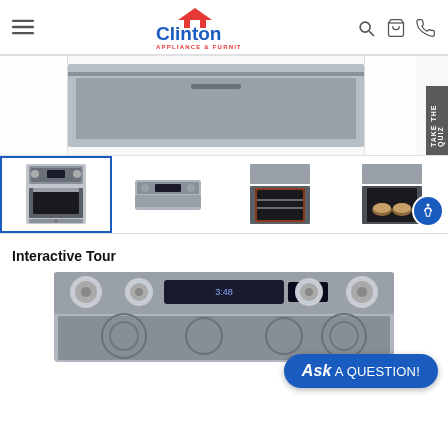[Figure (logo): Clinton Appliance & Furniture logo with house/roof icon in red and blue text]
[Figure (photo): Large product image of a stainless steel range hood/microwave drawer in a white kitchen setting]
[Figure (photo): Thumbnail strip of four appliance images: front view of stainless steel range (selected/active with blue border), top control panel view, open door view, interior with food view. Accessibility icon overlay on last thumbnail.]
Interactive Tour
[Figure (photo): Interactive tour image showing the top control panel of a stainless steel electric range with knobs and digital display]
Ask A QUESTION!